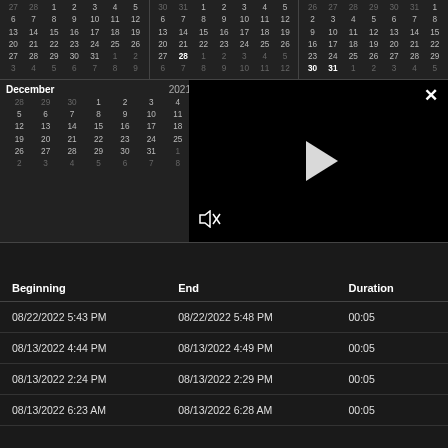[Figure (screenshot): Top row of three calendar month grids showing dates, dark background]
[Figure (screenshot): Bottom row of calendar months: December 2021 visible on left, partial second calendar, partial third calendar. A video player overlay (black rectangle with play button, mute icon, and X close button) covers the right portion.]
| Beginning | End | Duration |
| --- | --- | --- |
| 08/22/2022 5:43 PM | 08/22/2022 5:48 PM | 00:05 |
| 08/13/2022 4:44 PM | 08/13/2022 4:49 PM | 00:05 |
| 08/13/2022 2:24 PM | 08/13/2022 2:29 PM | 00:05 |
| 08/13/2022 6:23 AM | 08/13/2022 6:28 AM | 00:05 |